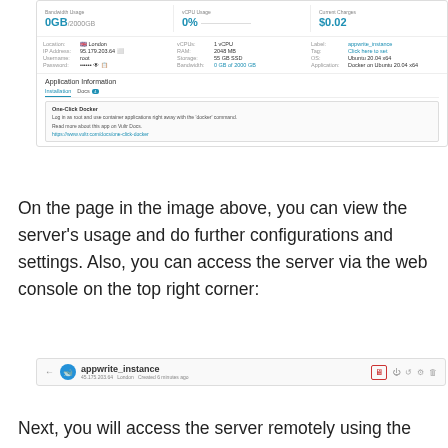[Figure (screenshot): Vultr server management dashboard screenshot showing bandwidth usage (0GB), CPU usage (0%), current charges ($0.02), server details (Location: London, IP, Username, Password, vCPUs, RAM, Storage, Bandwidth, Label, Tag, OS, Application), and Application Information section with One-Click Docker instructions and a link.]
On the page in the image above, you can view the server's usage and do further configurations and settings. Also, you can access the server via the web console on the top right corner:
[Figure (screenshot): Server list bar showing appwrite_instance server entry with IP, location, creation date, and action icons including a highlighted console button (red border).]
Next, you will access the server remotely using the SSH